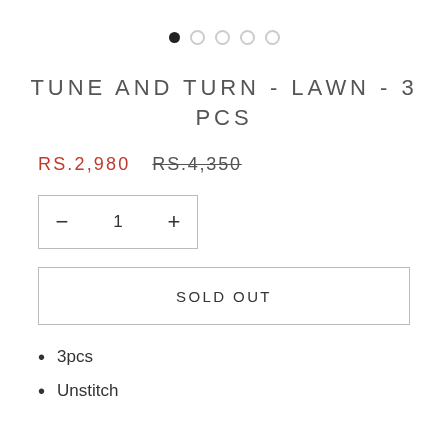[Figure (other): Carousel navigation dots: one filled black dot followed by four empty/outline dots]
TUNE AND TURN - LAWN - 3 PCS
RS.2,980   RS.4,350 (strikethrough)
— 1 +
SOLD OUT
3pcs
Unstitch